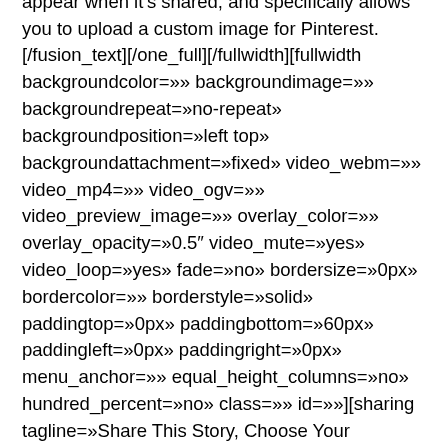personally set the title and the description that will appear when it's shared, and specifically allows you to upload a custom image for Pinterest. [/fusion_text][/one_full][/fullwidth][fullwidth backgroundcolor=»» backgroundimage=»» backgroundrepeat=»no-repeat» backgroundposition=»left top» backgroundattachment=»fixed» video_webm=»» video_mp4=»» video_ogv=»» video_preview_image=»» overlay_color=»» overlay_opacity=»0.5″ video_mute=»yes» video_loop=»yes» fade=»no» bordersize=»0px» bordercolor=»» borderstyle=»solid» paddingtop=»0px» paddingbottom=»60px» paddingleft=»0px» paddingright=»0px» menu_anchor=»» equal_height_columns=»no» hundred_percent=»no» class=»» id=»»][sharing tagline=»Share This Story, Choose Your Platform!» tagline_color=»» title=»Sample Title» link=»http://themeforest.net/item/avada-responsive-multipurpose-theme/2833226?ref=ThemeFusion»